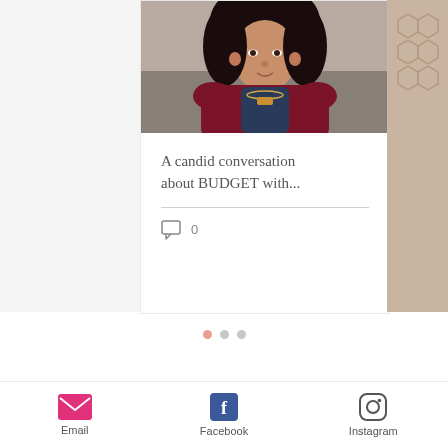[Figure (photo): Photo of a woman with curly dark hair wearing a dark red/maroon cardigan over a dark blue top with a layered necklace, seated on a couch]
A candid conversation about BUDGET with...
0 comments
[Figure (infographic): Three pagination dots — first dot active (salmon/pink color), second and third dots inactive (grey)]
[Figure (infographic): Black footer section with 'Say hi...' text in italic white font, an up-arrow circular button, and social media icons (Pinterest, Facebook, Instagram)]
Email   Facebook   Instagram